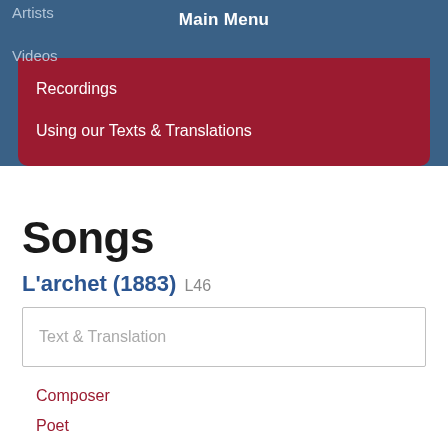Main Menu
Artists
Videos
Recordings
Using our Texts & Translations
Songs
L'archet (1883) L46
Text & Translation
Composer
Poet
Performances